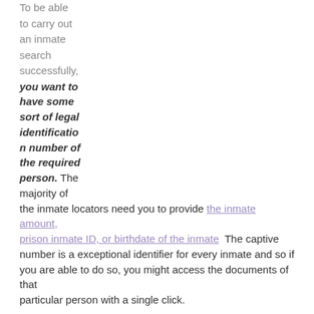To be able to carry out an inmate search successfully, you want to have some sort of legal identification number of the required person. The majority of the inmate locators need you to provide the inmate amount, prison inmate ID, or birthdate of the inmate. The captive number is a exceptional identifier for every inmate and so if you are able to do so, you might access the documents of that particular person with a single click.